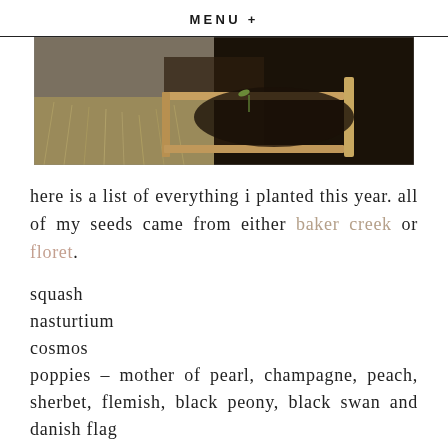MENU +
[Figure (photo): Garden raised beds with dry grass alongside dark soil, wooden frame borders visible]
here is a list of everything i planted this year. all of my seeds came from either baker creek or floret.
squash
nasturtium
cosmos
poppies – mother of pearl, champagne, peach, sherbet, flemish, black peony, black swan and danish flag